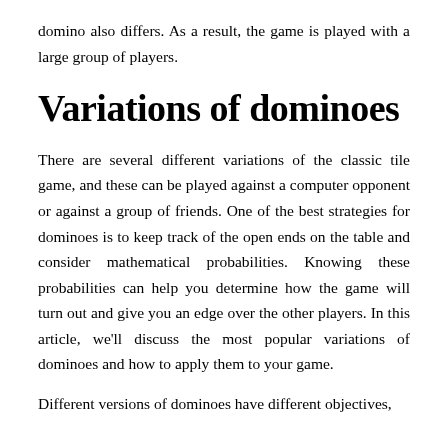domino also differs. As a result, the game is played with a large group of players.
Variations of dominoes
There are several different variations of the classic tile game, and these can be played against a computer opponent or against a group of friends. One of the best strategies for dominoes is to keep track of the open ends on the table and consider mathematical probabilities. Knowing these probabilities can help you determine how the game will turn out and give you an edge over the other players. In this article, we’ll discuss the most popular variations of dominoes and how to apply them to your game.
Different versions of dominoes have different objectives,